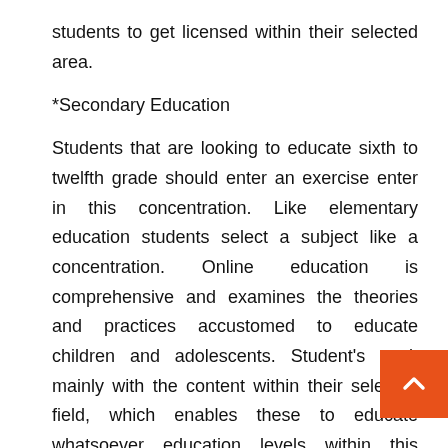students to get licensed within their selected area.
*Secondary Education
Students that are looking to educate sixth to twelfth grade should enter an exercise enter in this concentration. Like elementary education students select a subject like a concentration. Online education is comprehensive and examines the theories and practices accustomed to educate children and adolescents. Student's work mainly with the content within their selected field, which enables these to educate whatsoever education levels within this category. A lot of students go ahead and take same foundational courses and specialization classes taken individually. Literacy, classroom management and human development are a few common